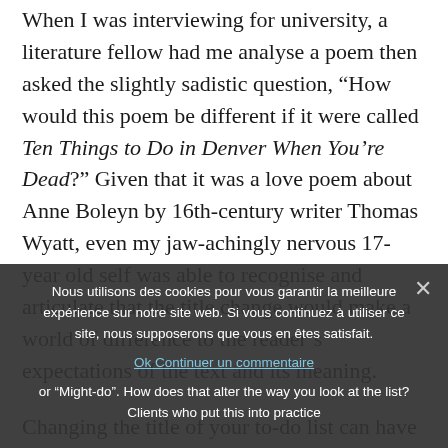When I was interviewing for university, a literature fellow had me analyse a poem then asked the slightly sadistic question, “How would this poem be different if it were called Ten Things to Do in Denver When You’re Dead?” Given that it was a love poem about Anne Boleyn by 16th-century writer Thomas Wyatt, even my jaw-achingly nervous 17-year old self was able to recognise and articulate that the title change would make a world of difference to the reader’s expectations of the text and its meaning.
Changing the title of your to-do list can have a similarly huge impact on how you relate to it. What
Nous utilisons des cookies pour vous garantir la meilleure expérience sur notre site web. Si vous continuez à utiliser ce site, nous supposerons que vous en êtes satisfait.